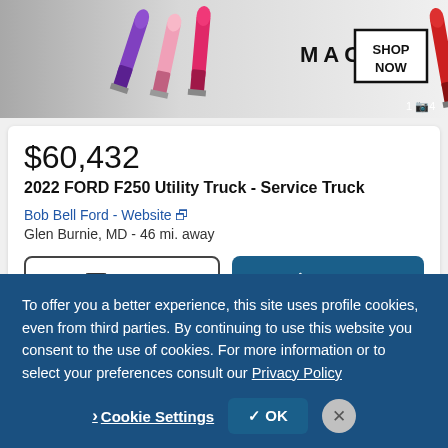[Figure (screenshot): MAC cosmetics advertisement banner showing lipsticks in purple, pink, hot pink, and red colors with MAC logo and SHOP NOW box]
$60,432
2022 FORD F250 Utility Truck - Service Truck
Bob Bell Ford - Website ↗
Glen Burnie, MD - 46 mi. away
Email
Call
Video chat with this dealer
To offer you a better experience, this site uses profile cookies, even from third parties. By continuing to use this website you consent to the use of cookies. For more information or to select your preferences consult our Privacy Policy
Cookie Settings
OK